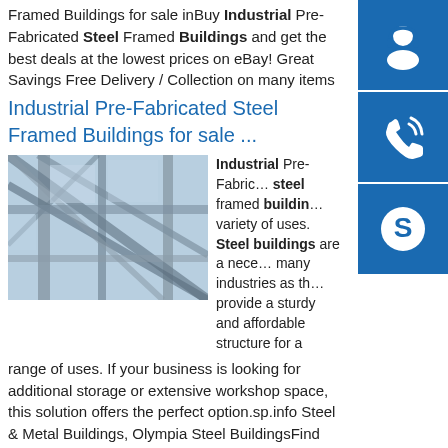Framed Buildings for sale inBuy Industrial Pre-Fabricated Steel Framed Buildings and get the best deals at the lowest prices on eBay! Great Savings Free Delivery / Collection on many items
Industrial Pre-Fabricated Steel Framed Buildings for sale ...
[Figure (photo): Close-up photo of steel frame structure with diagonal beams and blue sky visible through the frame]
Industrial Pre-Fabricated steel framed buildings variety of uses. Steel buildings are a necessary for many industries as they provide a sturdy and affordable structure for a range of uses. If your business is looking for additional storage or extensive workshop space, this solution offers the perfect option.sp.info Steel & Metal Buildings, Olympia Steel BuildingsFind Durable & Reliable Steel Buildings at Olympia Steel Buildings - Get a Free Metal Building Quote Today for storage, workshops, and more
[Figure (illustration): Blue support icon with headset silhouette]
[Figure (illustration): Blue phone icon]
[Figure (illustration): Blue Skype icon]